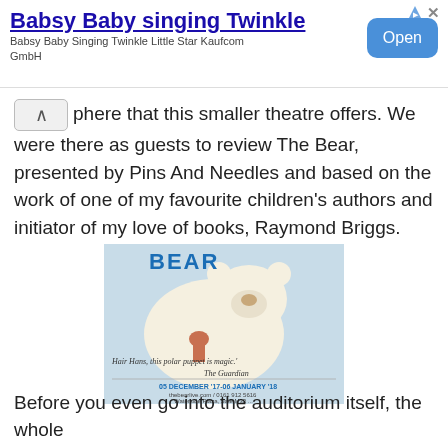[Figure (other): Advertisement banner for 'Babsy Baby singing Twinkle' app by Kaufcom GmbH, with an Open button]
phere that this smaller theatre offers. We were there as guests to review The Bear, presented by Pins And Needles and based on the work of one of my favourite children's authors and initiator of my love of books, Raymond Briggs.
[Figure (photo): Photo of 'The Bear' theatre show promotional booklet/flyer showing a polar bear illustration with a child, text reading 'BEAR', a quote 'Hair Hans, this polar puppet is magic.' - The Guardian, dates 05 DECEMBER '17 - 06 JANUARY '18, thebearlive.com / 0161 912 5616, Waterside Plaza, Sale M33]
Before you even go into the auditorium itself, the whole